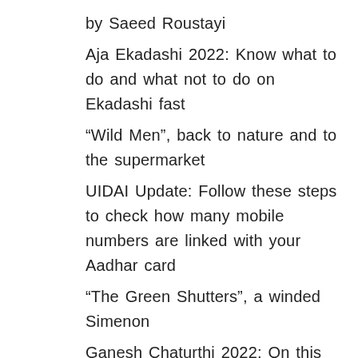by Saeed Roustayi
Aja Ekadashi 2022: Know what to do and what not to do on Ekadashi fast
“Wild Men”, back to nature and to the supermarket
UIDAI Update: Follow these steps to check how many mobile numbers are linked with your Aadhar card
“The Green Shutters”, a winded Simenon
Ganesh Chaturthi 2022: On this Ganesh Chaturthi, visit these 5 popular Ganesh temples of India, this is the special thing
Ganesh Chaturthi 2022: Know its importance,